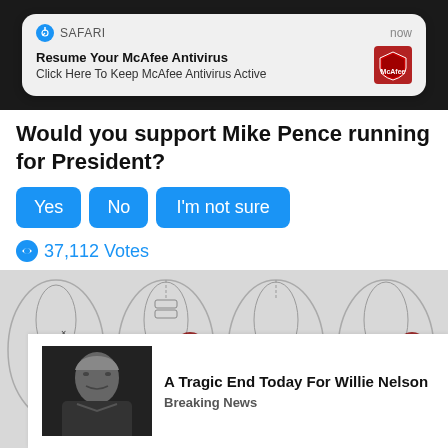[Figure (screenshot): Safari browser push notification: 'Resume Your McAfee Antivirus / Click Here To Keep McAfee Antivirus Active' with McAfee logo, timestamped 'now']
Would you support Mike Pence running for President?
Yes  No  I'm not sure
37,112 Votes
[Figure (illustration): Medical illustration showing cross-sections of human pelvis/hip joint highlighting pain areas in red]
[Figure (photo): Photograph of elderly man (Willie Nelson) in dark clothing]
A Tragic End Today For Willie Nelson
Breaking News